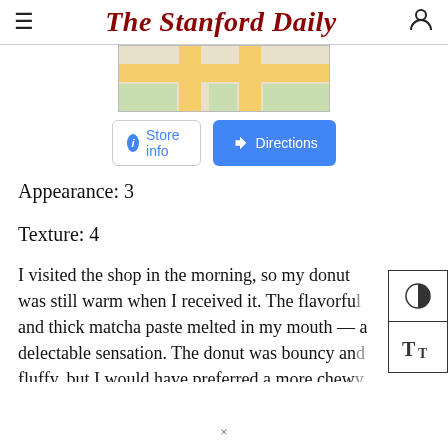The Stanford Daily
[Figure (map): Partial Google Maps screenshot showing street map with yellow roads and a blue 'Store info' button and blue 'Directions' button below]
Appearance: 3
Texture: 4
I visited the shop in the morning, so my donut was still warm when I received it. The flavorful and thick matcha paste melted in my mouth — a delectable sensation. The donut was bouncy and fluffy, but I would have preferred a more chewy texture. Still, I felt this is above average...
×